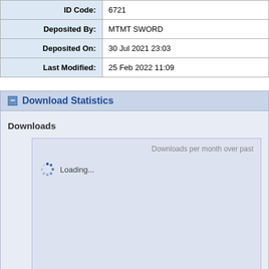| Field | Value |
| --- | --- |
| ID Code: | 6721 |
| Deposited By: | MTMT SWORD |
| Deposited On: | 30 Jul 2021 23:03 |
| Last Modified: | 25 Feb 2022 11:09 |
Download Statistics
Downloads
[Figure (other): Downloads per month chart loading spinner with text 'Loading...' and partial label 'Downloads per month over past']